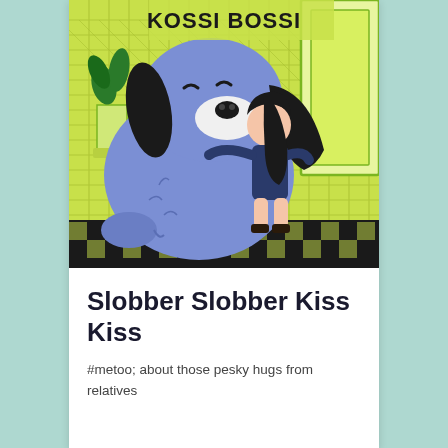[Figure (illustration): Book cover illustration titled 'KOSSI BOSSI' showing a large blue cartoon dog being hugged by a small child with dark hair in a green cross-hatched room with a plant in the background]
Slobber Slobber Kiss Kiss
#metoo; about those pesky hugs from relatives